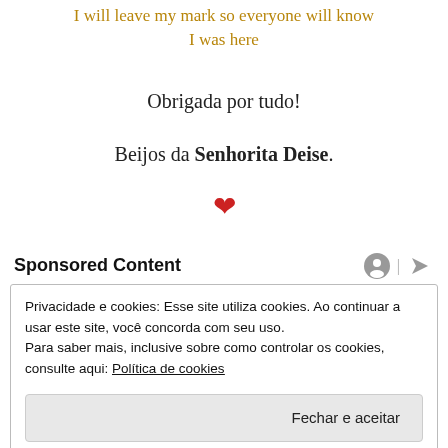I will leave my mark so everyone will know I was here
Obrigada por tudo!
Beijos da Senhorita Deise.
[Figure (illustration): Red heart emoji symbol]
Sponsored Content
Privacidade e cookies: Esse site utiliza cookies. Ao continuar a usar este site, você concorda com seu uso.
Para saber mais, inclusive sobre como controlar os cookies, consulte aqui: Política de cookies
Fechar e aceitar